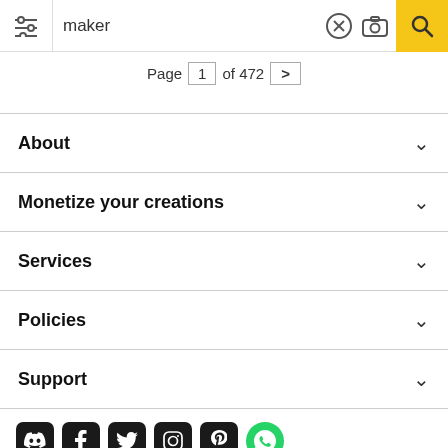maker — Page 1 of 472
About
Monetize your creations
Services
Policies
Support
[Figure (other): Social media icons: Discord, Facebook, Twitter, Instagram, Pinterest, WhatsApp]
All rights reserved. © Inmagine Lab Pte Ltd 2022.